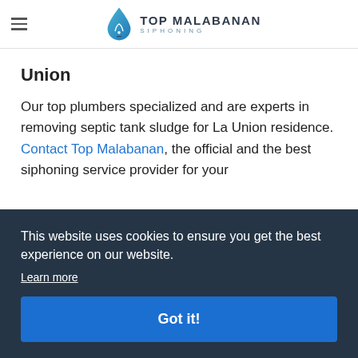TOP MALABANAN SIPHONING
Union
Our top plumbers specialized and are experts in removing septic tank sludge for La Union residence. Contact Top Malabanan, the official and the best siphoning service provider for your
This website uses cookies to ensure you get the best experience on our website. Learn more Got it!